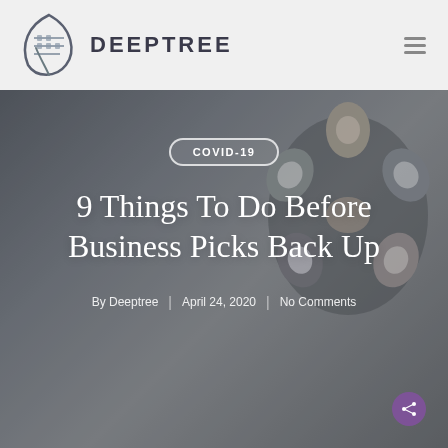DEEPTREE
[Figure (photo): Aerial view of a group of people in a huddle with hands together in the center, photographed from above on a concrete surface. Used as hero background image for a blog post about COVID-19 business tips.]
COVID-19
9 Things To Do Before Business Picks Back Up
By Deeptree | April 24, 2020 | No Comments